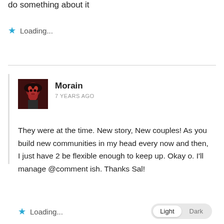do something about it
Loading...
Morain
7 YEARS AGO
They were at the time. New story, New couples! As you build new communities in my head every now and then, I just have 2 be flexible enough to keep up. Okay o. I'll manage @comment ish. Thanks Sal!
Loading...